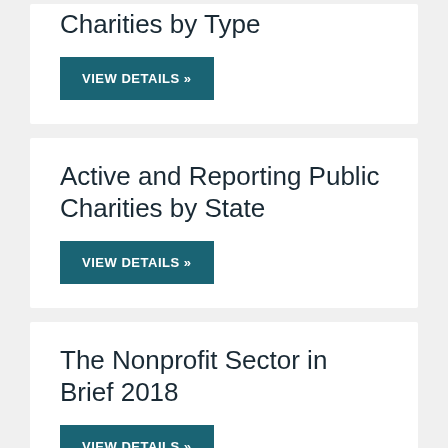Charities by Type
VIEW DETAILS »
Active and Reporting Public Charities by State
VIEW DETAILS »
The Nonprofit Sector in Brief 2018
VIEW DETAILS »
Active and Reporting Other Exempt…